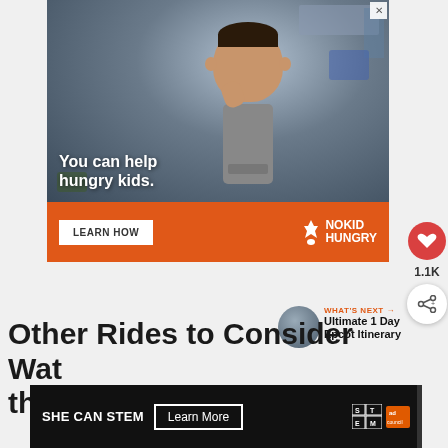[Figure (infographic): Advertisement for No Kid Hungry showing a young boy eating in a classroom. Text overlay reads 'You can help hungry kids.' with a 'LEARN HOW' button and No Kid Hungry logo on an orange bar.]
1.1K
Other Rides to Consider Watching the Fireworks From:
[Figure (infographic): Advertisement: SHE CAN STEM with Learn More button and Ad Council logo on black background.]